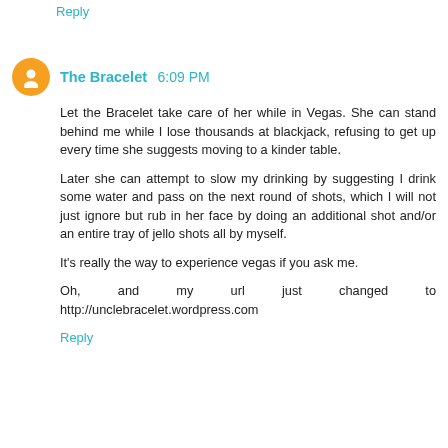Reply
The Bracelet  6:09 PM
Let the Bracelet take care of her while in Vegas. She can stand behind me while I lose thousands at blackjack, refusing to get up every time she suggests moving to a kinder table.

Later she can attempt to slow my drinking by suggesting I drink some water and pass on the next round of shots, which I will not just ignore but rub in her face by doing an additional shot and/or an entire tray of jello shots all by myself.

It's really the way to experience vegas if you ask me.

Oh, and my url just changed to http://unclebracelet.wordpress.com
Reply